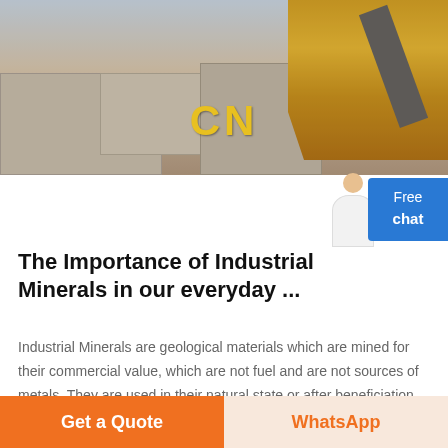[Figure (photo): Mining/quarry scene with large stone blocks, heavy yellow machinery with 'CN' logo text visible in yellow letters in the background]
The Importance of Industrial Minerals in our everyday ...
Industrial Minerals are geological materials which are mined for their commercial value, which are not fuel and are not sources of metals. They are used in their natural state or after beneficiation either as raw materials or as additives in a wide range of applications.